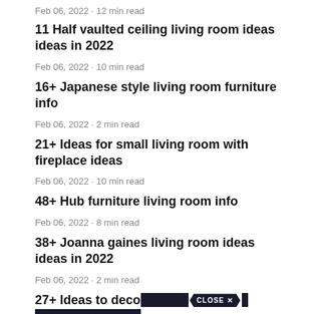Feb 06, 2022 · 12 min read
11 Half vaulted ceiling living room ideas ideas in 2022
Feb 06, 2022 · 10 min read
16+ Japanese style living room furniture info
Feb 06, 2022 · 2 min read
21+ Ideas for small living room with fireplace ideas
Feb 06, 2022 · 10 min read
48+ Hub furniture living room info
Feb 06, 2022 · 8 min read
38+ Joanna gaines living room ideas ideas in 2022
Feb 06, 2022 · 2 min read
27+ Ideas to decor living room information